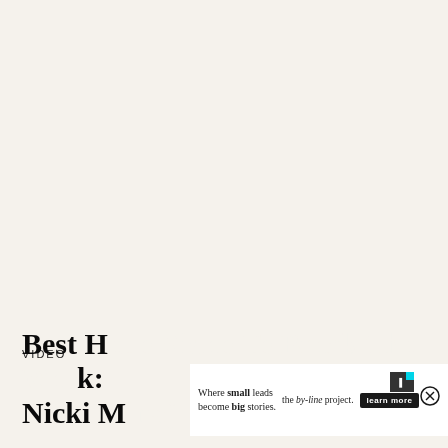VIDEO
Best H... Nicki M...
[Figure (advertisement): Ad overlay for 'the by-line project' with text 'Where small leads become big stories.' and a 'learn more' button, plus close controls]